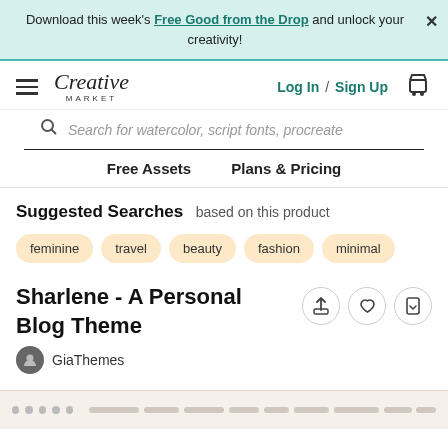Download this week's Free Good from the Drop and unlock your creativity!
[Figure (screenshot): Creative Market navigation bar with hamburger menu, logo, Log In / Sign Up links, and cart icon]
Search for watercolor, script fonts, procreate
Free Assets    Plans & Pricing
Suggested Searches  based on this product
feminine
travel
beauty
fashion
minimal
Sharlene - A Personal Blog Theme
GiaThemes
[Figure (screenshot): Preview strip of the Sharlene personal blog theme website]